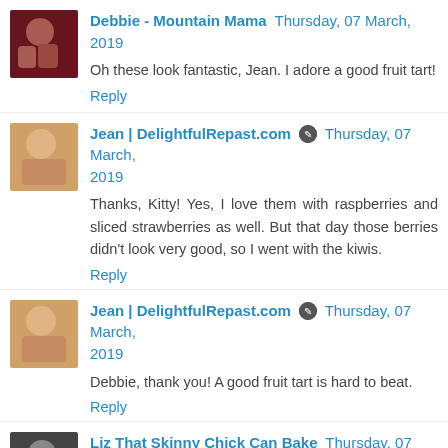[Figure (photo): Avatar photo of Debbie - Mountain Mama, dark reddish background, two people visible]
Debbie - Mountain Mama  Thursday, 07 March, 2019
Oh these look fantastic, Jean. I adore a good fruit tart!
Reply
[Figure (photo): Avatar photo of Jean, light background, woman's face]
Jean | DelightfulRepast.com  Thursday, 07 March, 2019
Thanks, Kitty! Yes, I love them with raspberries and sliced strawberries as well. But that day those berries didn't look very good, so I went with the kiwis.
Reply
[Figure (photo): Avatar photo of Jean, same as above]
Jean | DelightfulRepast.com  Thursday, 07 March, 2019
Debbie, thank you! A good fruit tart is hard to beat.
Reply
[Figure (photo): Avatar photo of Liz That Skinny Chick Can Bake, dark background]
Liz That Skinny Chick Can Bake  Thursday, 07 March,